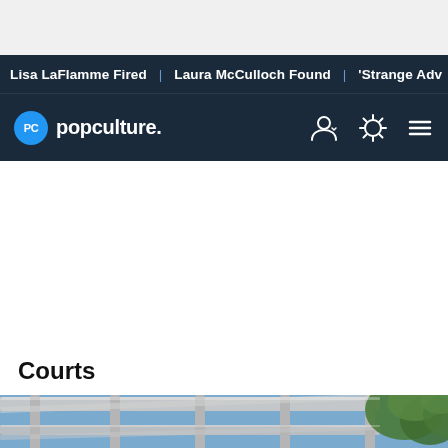Lisa LaFlamme Fired | Laura McCulloch Found | 'Strange Adv
popculture.
Courts
[Figure (photo): Outdoor pergola structure with white/gray beams against a blue sky, with green foliage visible in the top right corner.]